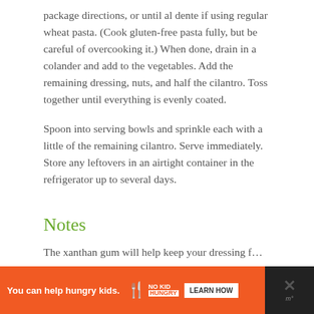package directions, or until al dente if using regular wheat pasta. (Cook gluten-free pasta fully, but be careful of overcooking it.) When done, drain in a colander and add to the vegetables. Add the remaining dressing, nuts, and half the cilantro. Toss together until everything is evenly coated.
Spoon into serving bowls and sprinkle each with a little of the remaining cilantro. Serve immediately. Store any leftovers in an airtight container in the refrigerator up to several days.
Notes
The xanthan gum will help keep your dressing from separating, it's a better option...
[Figure (other): Advertisement banner: orange background. Text reads 'You can help hungry kids.' with No Kid Hungry logo and 'LEARN HOW' button. Right side has a dark close/dismiss panel with X symbol.]